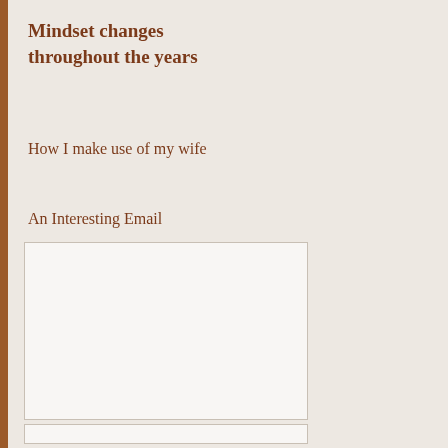Mindset changes throughout the years
How I make use of my wife
An Interesting Email
[Figure (other): White/blank image box, large rectangular placeholder below 'An Interesting Email' heading]
[Figure (other): White/blank image box, smaller rectangular placeholder at bottom of page]